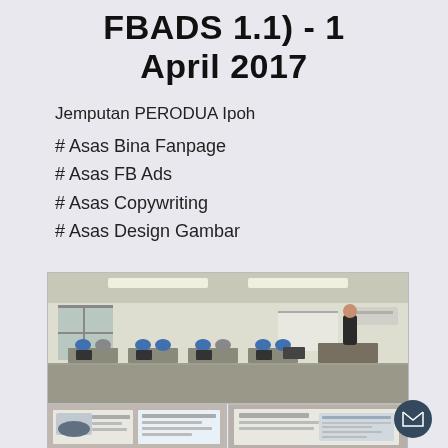FBADS 1.1) - 1 April 2017
Jemputan PERODUA Ipoh
# Asas Bina Fanpage
# Asas FB Ads
# Asas Copywriting
# Asas Design Gambar
[Figure (photo): Classroom training session with participants seated at desks and a trainer standing at the front, office/training room setting]
[Figure (photo): Bottom-left smaller photo showing presentation slides with a car image]
[Figure (photo): Bottom-right smaller photo showing presentation slides on screen]